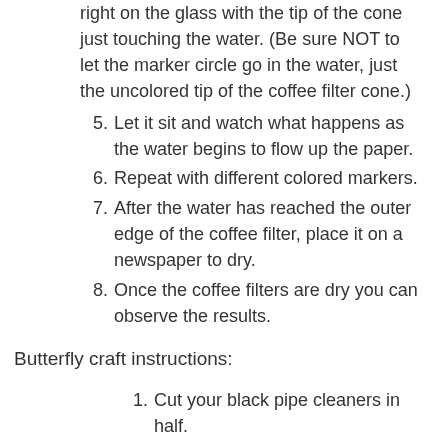right on the glass with the tip of the cone just touching the water. (Be sure NOT to let the marker circle go in the water, just the uncolored tip of the coffee filter cone.)
5. Let it sit and watch what happens as the water begins to flow up the paper.
6. Repeat with different colored markers.
7. After the water has reached the outer edge of the coffee filter, place it on a newspaper to dry.
8. Once the coffee filters are dry you can observe the results.
Butterfly craft instructions:
1. Cut your black pipe cleaners in half.
2. Take one coffee filter and scrunch it up in the middle.